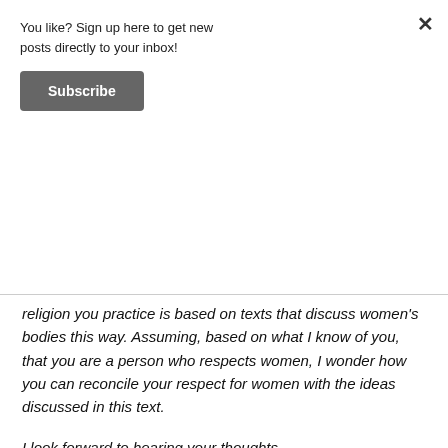You like? Sign up here to get new posts directly to your inbox!
Subscribe
religion you practice is based on texts that discuss women's bodies this way. Assuming, based on what I know of you, that you are a person who respects women, I wonder how you can reconcile your respect for women with the ideas discussed in this text.
I look forward to hearing your thoughts.
Thanks,
Skeptical Secular Person
#2: Dealing with Offensive